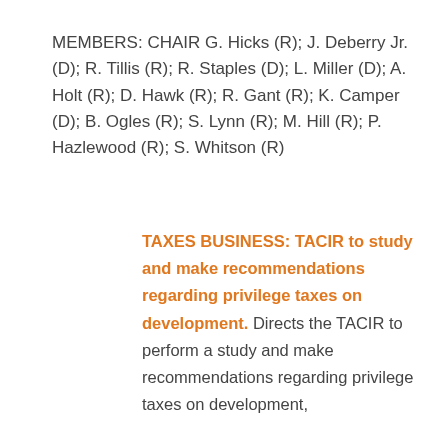MEMBERS: CHAIR G. Hicks (R); J. Deberry Jr. (D); R. Tillis (R); R. Staples (D); L. Miller (D); A. Holt (R); D. Hawk (R); R. Gant (R); K. Camper (D); B. Ogles (R); S. Lynn (R); M. Hill (R); P. Hazlewood (R); S. Whitson (R)
TAXES BUSINESS: TACIR to study and make recommendations regarding privilege taxes on development. Directs the TACIR to perform a study and make recommendations regarding privilege taxes on development,